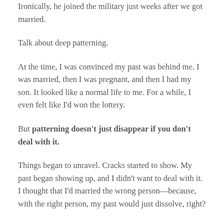Ironically, he joined the military just weeks after we got married.
Talk about deep patterning.
At the time, I was convinced my past was behind me. I was married, then I was pregnant, and then I had my son. It looked like a normal life to me. For a while, I even felt like I'd won the lottery.
But patterning doesn't just disappear if you don't deal with it.
Things began to unravel. Cracks started to show. My past began showing up, and I didn't want to deal with it. I thought that I'd married the wrong person—because, with the right person, my past would just dissolve, right?